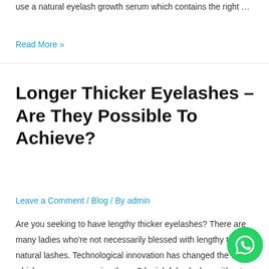use a natural eyelash growth serum which contains the right …
Read More »
Longer Thicker Eyelashes – Are They Possible To Achieve?
Leave a Comment / Blog / By admin
Are you seeking to have lengthy thicker eyelashes? There are many ladies who're not necessarily blessed with lengthy thick all natural lashes. Technological innovation has changed the way in which women can receive these 3d mink false lashes without having messy glue as well as surgical treatment.Rmnlo Pu Mascara To Obtain Lengthy Thick Lashes …
[Figure (logo): WhatsApp chat button (green circle with phone/chat icon)]